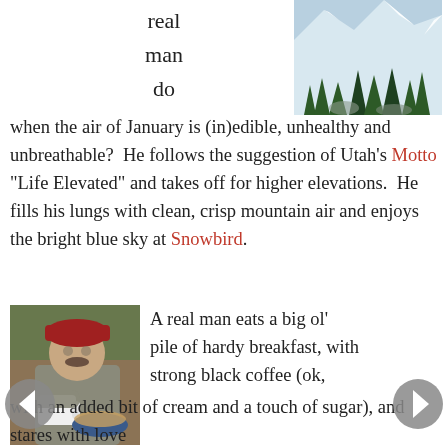real man do
[Figure (photo): Snow-covered mountain scene with pine trees at Snowbird, Utah]
when the air of January is (in)edible, unhealthy and unbreathable?  He follows the suggestion of Utah's Motto "Life Elevated" and takes off for higher elevations.  He fills his lungs with clean, crisp mountain air and enjoys the bright blue sky at Snowbird.
[Figure (photo): Man wearing red cap drinking from a white coffee mug with a bowl of food in front of him]
A real man eats a big ol' pile of hardy breakfast, with strong black coffee (ok, with an added bit of cream and a touch of sugar), and stares with love